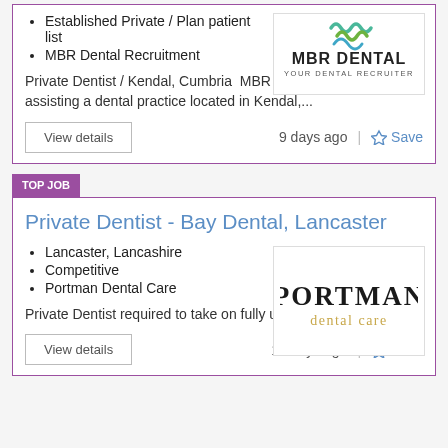Established Private / Plan patient list
MBR Dental Recruitment
[Figure (logo): MBR Dental - Your Dental Recruiter logo with green and blue wavy lines above text]
Private Dentist / Kendal, Cumbria MBR Dental are currently assisting a dental practice located in Kendal,...
View details
9 days ago
Save
TOP JOB
Private Dentist - Bay Dental, Lancaster
Lancaster, Lancashire
Competitive
Portman Dental Care
[Figure (logo): Portman dental care logo - black serif PORTMAN text with golden 'dental care' below]
Private Dentist required to take on fully utilised list of...
View details
10 days ago
Save